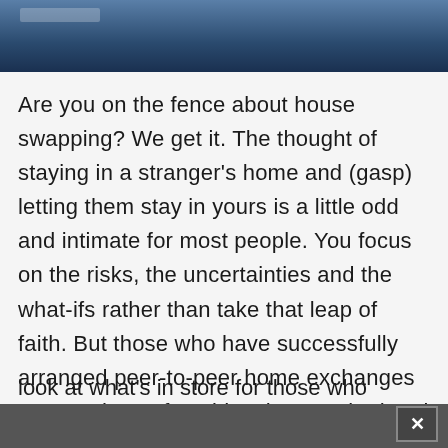[Figure (photo): Partial photo of a waterfront or harbor scene with blue tones, shown as a cropped bar at the top of the page.]
Are you on the fence about house swapping? We get it. The thought of staying in a stranger's home and (gasp) letting them stay in yours is a little odd and intimate for most people. You focus on the risks, the uncertainties and the what-ifs rather than take that leap of faith. But those who have successfully arranged peer-to-peer home exchanges report a host of upsides that regular hotel stays can't provide. It might just revolutionize the way you travel. Take a
×